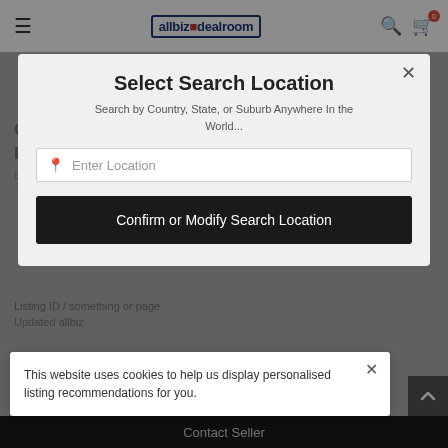[Figure (screenshot): allbiz dealroom website navigation bar with hamburger menu, logo, search icon, and cart icon showing 0 items]
Own Your Own Finance Mortgage Franchising
Franchise | Mount Isa
By Resolve Finance Franchising
Mount Isa 4825 Mount Isa, Queensland, Australia
Select Search Location
Search by Country, State, or Suburb Anywhere In the World...
Enter Location
Confirm or Modify Search Location
Listing ID / somethingorpage
Updated allbiz
This website uses cookies to help us display personalised listing recommendations for you.
Contact Seller